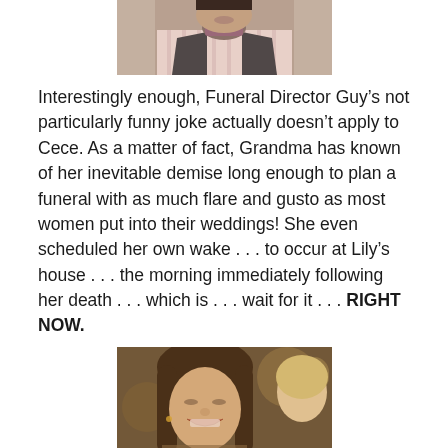[Figure (photo): Photo of a man in a striped pink shirt and dark vest with a patterned necktie/scarf, cropped at the neck/shoulders area]
Interestingly enough, Funeral Director Guy’s not particularly funny joke actually doesn’t apply to Cece.  As a matter of fact, Grandma has known of her inevitable demise long enough to plan a funeral with as much flare and gusto as most women put into their weddings!  She even scheduled her own wake . . . to occur at Lily’s house . . . the morning immediately following her death . . . which is . . . wait for it . . . RIGHT NOW.
[Figure (photo): Photo of a young woman with long brown hair smiling/laughing, with another person partially visible in the background]